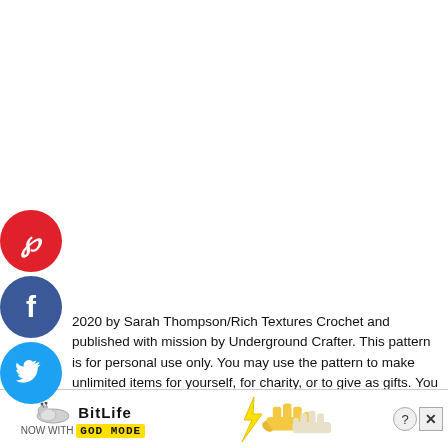[Figure (other): Social media sharing buttons: Pinterest (red circle with P), Facebook (dark blue circle with f), Twitter (light blue circle with bird icon)]
2020 by Sarah Thompson/Rich Textures Crochet and published with mission by Underground Crafter. This pattern is for personal use only. You may use the pattern to make unlimited items for yourself, for charity, or to give as gifts. You may sell items you personally make by hand from this pattern. Do not violate Sarah's copyright by distributing this pattern or the photos in any form, including but not limited to scanning, photocopying, emailing, or posting on a website or internet discussion group. if you want to share the pattern, point your friends to this link: https://undergroundcrafter.com/2020/04/24/trinity-textured-crochet-beanie
[Figure (screenshot): Advertisement banner: BitLife game ad with snail logo, NOW WITH GOD MODE text, pointing hand graphics, help and close buttons]